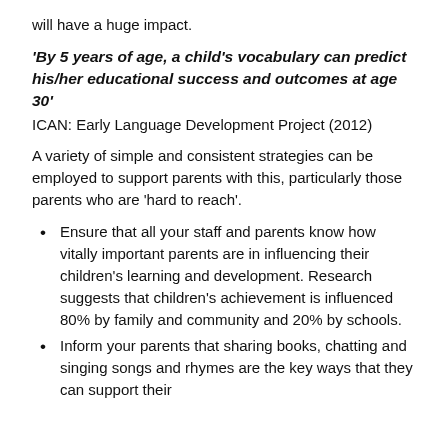will have a huge impact.
'By 5 years of age, a child's vocabulary can predict his/her educational success and outcomes at age 30'
ICAN: Early Language Development Project (2012)
A variety of simple and consistent strategies can be employed to support parents with this, particularly those parents who are 'hard to reach'.
Ensure that all your staff and parents know how vitally important parents are in influencing their children's learning and development. Research suggests that children's achievement is influenced 80% by family and community and 20% by schools.
Inform your parents that sharing books, chatting and singing songs and rhymes are the key ways that they can support their